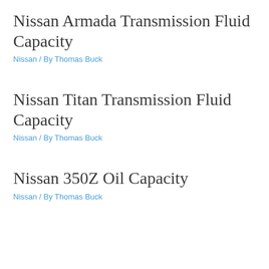Nissan Armada Transmission Fluid Capacity
Nissan / By Thomas Buck
Nissan Titan Transmission Fluid Capacity
Nissan / By Thomas Buck
Nissan 350Z Oil Capacity
Nissan / By Thomas Buck